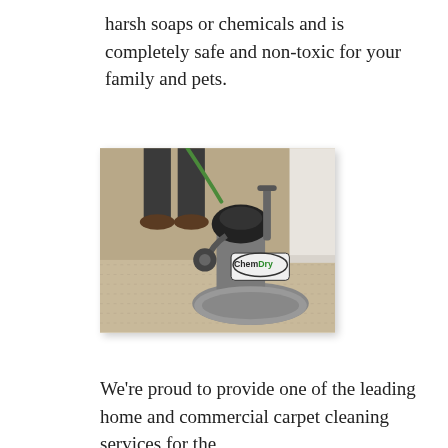harsh soaps or chemicals and is completely safe and non-toxic for your family and pets.
[Figure (photo): A Chem-Dry carpet cleaning machine (rotary buffer style) with the Chem-Dry logo on its body, being operated on a light-colored carpet by a person wearing dark pants and brown shoes.]
We're proud to provide one of the leading home and commercial carpet cleaning services for the